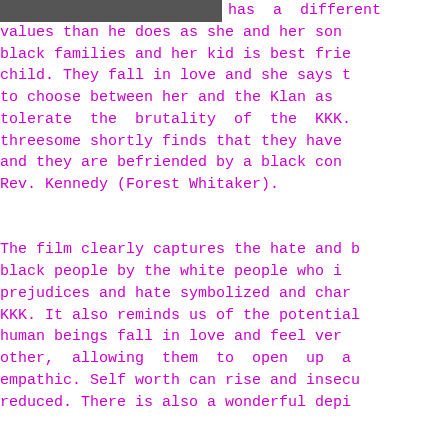[Figure (photo): Partial photo visible at top left of page, dark/grayscale image]
has a different values than he does as she and her son black families and her kid is best frie child. They fall in love and she says t to choose between her and the Klan as tolerate the brutality of the KKK. threesome shortly finds that they have and they are befriended by a black con Rev. Kennedy (Forest Whitaker).

The film clearly captures the hate and b black people by the white people who i prejudices and hate symbolized and char KKK. It also reminds us of the potential human beings fall in love and feel ver other, allowing them to open up a empathic. Self worth can rise and insecu reduced. There is also a wonderful depi